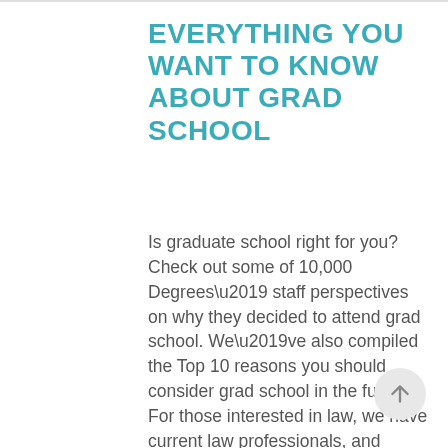EVERYTHING YOU WANT TO KNOW ABOUT GRAD SCHOOL
Is graduate school right for you? Check out some of 10,000 Degrees’ staff perspectives on why they decided to attend grad school. We’ve also compiled the Top 10 reasons you should consider grad school in the future. For those interested in law, we have current law professionals, and aspiring law students answering your questions about law school and beyond.